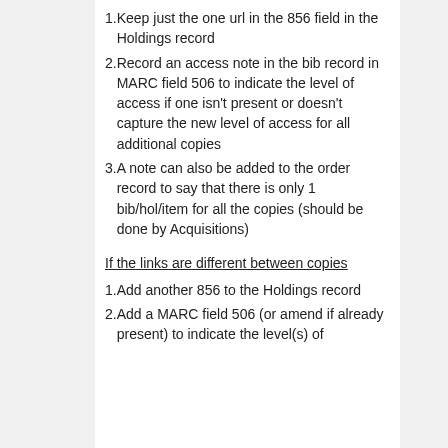1. Keep just the one url in the 856 field in the Holdings record
2. Record an access note in the bib record in MARC field 506 to indicate the level of access if one isn't present or doesn't capture the new level of access for all additional copies
3. A note can also be added to the order record to say that there is only 1 bib/hol/item for all the copies (should be done by Acquisitions)
If the links are different between copies
1. Add another 856 to the Holdings record
2. Add a MARC field 506 (or amend if already present) to indicate the level(s) of